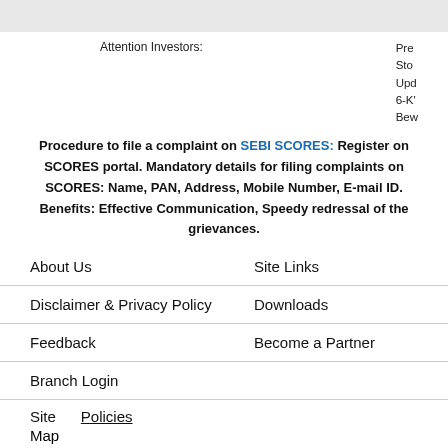Attention Investors:   Pre
Sto
Upd
6-K'
Bew
Procedure to file a complaint on SEBI SCORES: Register on SCORES portal. Mandatory details for filing complaints on SCORES: Name, PAN, Address, Mobile Number, E-mail ID. Benefits: Effective Communication, Speedy redressal of the grievances.
About Us
Site Links
Disclaimer & Privacy Policy
Downloads
Feedback
Become a Partner
Branch Login
Site     Policies
Map
SEBI : BROKING INZ000168236 Research Analyst - INH200000402 DP Operations : IN – DP-556-2021 AMFI No – ARN-52825 IRDAI Registration No (Corporate Agent): CA0618 Brokerage will not exceed the SEBI prescribed limit. Investment in securities market are subject to market risks, read all the related documents carefully before investing.